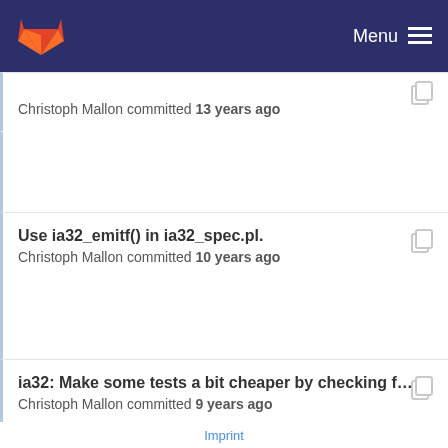GitLab — Menu
Christoph Mallon committed 13 years ago
Use ia32_emitf() in ia32_spec.pl.
Christoph Mallon committed 10 years ago
ia32: Make some tests a bit cheaper by checking f...
Christoph Mallon committed 9 years ago
Use ia32_emitf() in ia32_spec.pl.
Christoph Mallon committed 10 years ago
ia32: Make some tests a bit cheaper by checking f...
Imprint